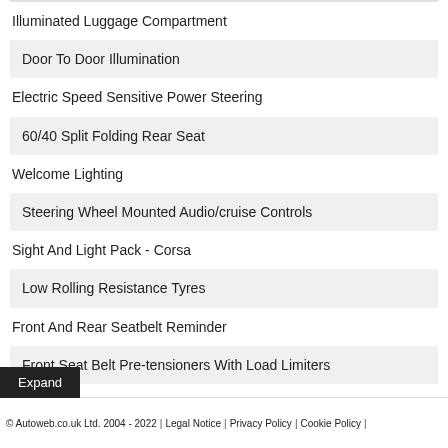Illuminated Luggage Compartment
Door To Door Illumination
Electric Speed Sensitive Power Steering
60/40 Split Folding Rear Seat
Welcome Lighting
Steering Wheel Mounted Audio/cruise Controls
Sight And Light Pack - Corsa
Low Rolling Resistance Tyres
Front And Rear Seatbelt Reminder
Front Seat Belt Pre-tensioners With Load Limiters
Speed Warning Indicator
© Autoweb.co.uk Ltd. 2004 - 2022 | Legal Notice | Privacy Policy | Cookie Policy |